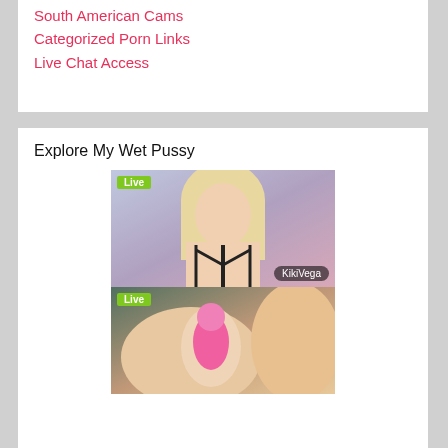South American Cams
Categorized Porn Links
Live Chat Access
Explore My Wet Pussy
[Figure (photo): Live webcam thumbnail of blonde woman in black harness bra with 'Live' badge and username 'KikiVega']
[Figure (photo): Live webcam thumbnail showing close-up with pink toy and 'Live' badge]